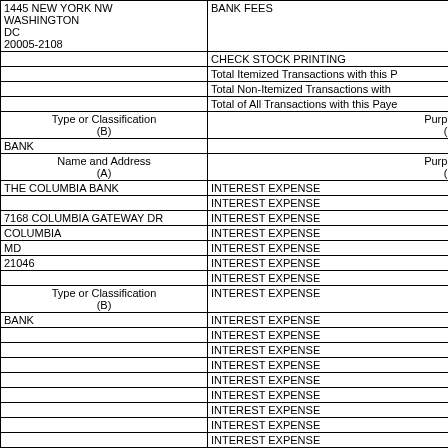| Name and Address (A) | Purpose (C) |
| --- | --- |
| 1445 NEW YORK NW
WASHINGTON
DC
20005-2108 | BANK FEES
CHECK STOCK PRINTING
Total Itemized Transactions with this P
Total Non-Itemized Transactions with
Total of All Transactions with this Paye |
| Type or Classification (B) | Purpose (C) |
| BANK |  |
| Name and Address (A) | Purpose (C) |
| THE COLUMBIA BANK

7168 COLUMBIA GATEWAY DR
COLUMBIA
MD
21046 | INTEREST EXPENSE (x24) |
| Type or Classification (B) |  |
| BANK | Total Itemized Transactions with this P |